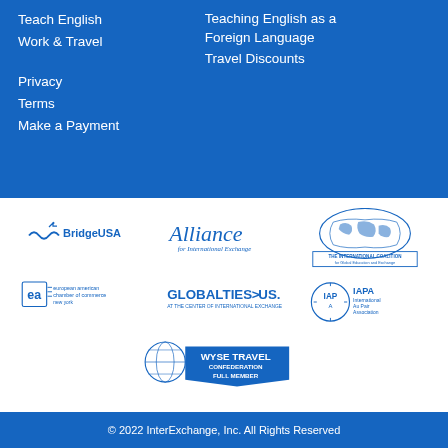Teach English
Work & Travel
Teaching English as a Foreign Language
Travel Discounts
Privacy
Terms
Make a Payment
[Figure (logo): BridgeUSA logo]
[Figure (logo): Alliance for International Exchange logo]
[Figure (logo): The International Coalition for Global Education and Exchange logo]
[Figure (logo): European American Chamber of Commerce New York logo]
[Figure (logo): GlobalTies US - At the Center of International Exchange logo]
[Figure (logo): IAPA International Au Pair Association logo]
[Figure (logo): WYSE Travel Confederation Full Member logo]
© 2022 InterExchange, Inc. All Rights Reserved